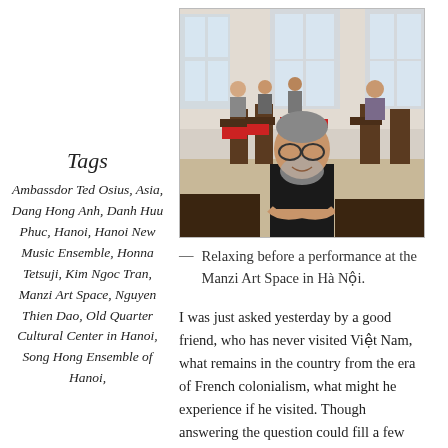Tags
Ambassdor Ted Osius, Asia, Dang Hong Anh, Danh Huu Phuc, Hanoi, Hanoi New Music Ensemble, Honna Tetsuji, Kim Ngoc Tran, Manzi Art Space, Nguyen Thien Dao, Old Quarter Cultural Center in Hanoi, Song Hong Ensemble of Hanoi,
[Figure (photo): A man with a beard and glasses, wearing a black shirt, sitting and relaxing in a room with wooden chairs and red cushions. Several people are visible in the background near large windows.]
— Relaxing before a performance at the Manzi Art Space in Hà Nội.
I was just asked yesterday by a good friend, who has never visited Việt Nam, what remains in the country from the era of French colonialism, what might he experience if he visited. Though answering the question could fill a few volumes, I'll give you a some